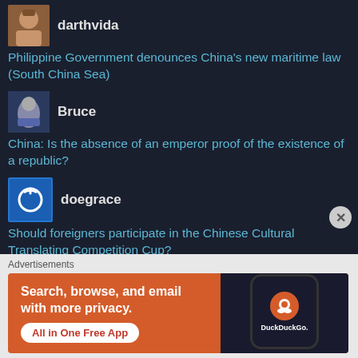darthvida — Philippine Government denounces China's new maritime law (South China Sea)
Bruce — China: Is the absence of an emperor proof of the existence of a republic?
doegrace — Should foreigners participate in the Chinese Cultural Translating Competition Cup?
dragonphoto — Changzhou, China
Advertisements
[Figure (screenshot): DuckDuckGo advertisement banner: 'Search, browse, and email with more privacy. All in One Free App' with phone mockup showing DuckDuckGo logo]